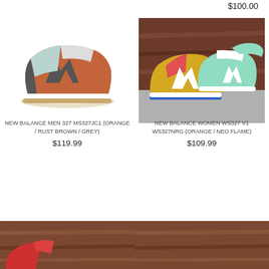$100.00
[Figure (photo): New Balance Men 327 MS327JC1 sneaker in orange/rust brown/grey colorway, side view on white background]
[Figure (photo): New Balance Women WS327 V1 WS327NRG sneakers in orange/neo flame colorway, multiple pairs shown from side angle on concrete background]
NEW BALANCE MEN 327 MS327JC1 (ORANGE / RUST BROWN / GREY)
$119.99
NEW BALANCE WOMEN WS327 V1 WS327NRG (ORANGE / NEO FLAME)
$109.99
[Figure (photo): Partial view of a shoe/product on wooden background, bottom of page]
[Figure (photo): Partial view of a shoe/product on wooden background, bottom of page]